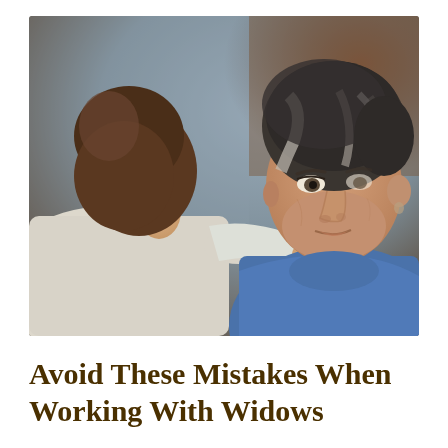[Figure (photo): A younger woman with brown hair, seen from behind, placing her hand on the shoulder of an older woman with grey-streaked dark hair wearing a blue shirt. The older woman faces the viewer with a somber expression. The background is softly blurred in muted tones of grey and brown.]
Avoid These Mistakes When Working With Widows